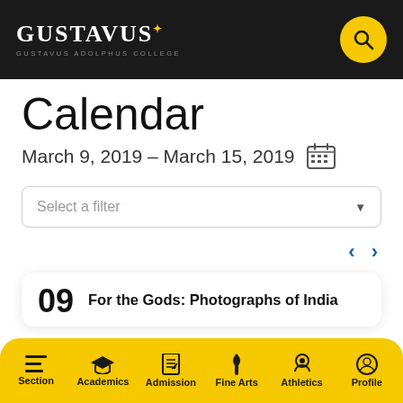GUSTAVUS ADOLPHUS COLLEGE
Calendar
March 9, 2019 – March 15, 2019
Select a filter
For the Gods: Photographs of India
12:00 am - 11:59 pm
Section | Academics | Admission | Fine Arts | Athletics | Profile